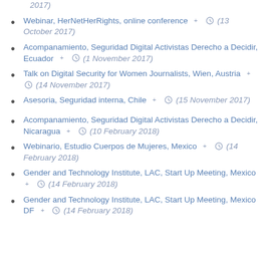2017)
Webinar, HerNetHerRights, online conference + (13 October 2017)
Acompanamiento, Seguridad Digital Activistas Derecho a Decidir, Ecuador + (1 November 2017)
Talk on Digital Security for Women Journalists, Wien, Austria + (14 November 2017)
Asesoria, Seguridad interna, Chile + (15 November 2017)
Acompanamiento, Seguridad Digital Activistas Derecho a Decidir, Nicaragua + (10 February 2018)
Webinario, Estudio Cuerpos de Mujeres, Mexico + (14 February 2018)
Gender and Technology Institute, LAC, Start Up Meeting, Mexico + (14 February 2018)
Gender and Technology Institute, LAC, Start Up Meeting, Mexico DF + (14 February 2018)